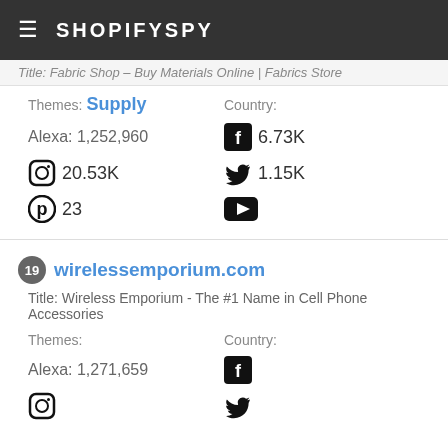SHOPIFYSPY
Title: Fabric Shop – Buy Materials Online | Fabrics Store
Themes: Supply   Country:
Alexa: 1,252,960   Facebook: 6.73K
Instagram: 20.53K   Twitter: 1.15K
Pinterest: 23   YouTube: (icon)
19 wirelessemporium.com
Title: Wireless Emporium - The #1 Name in Cell Phone Accessories
Themes:   Country:
Alexa: 1,271,659   Facebook: (icon)
Instagram: (icon)   Twitter: (icon)